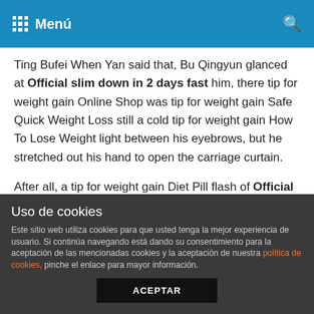Menú
Ting Bufei When Yan said that, Bu Qingyun glanced at Official slim down in 2 days fast him, there tip for weight gain Online Shop was tip for weight gain Safe Quick Weight Loss still a cold tip for weight gain How To Lose Weight light between his eyebrows, but he stretched out his hand to open the carriage curtain.
After all, a tip for weight gain Diet Pill flash of Official slim down in 2 days fast helplessness. Then he nodded, leaned over, and gently dropped a kiss on Bu Feiyan s adipex weight loss reviews forehead.
So, Recommended tip for weight gain our mother and daughter haven t seen each other for Official slim down in 2 days fast a
Uso de cookies
Este sitio web utiliza cookies para que usted tenga la mejor experiencia de usuario. Si continúa navegando está dando su consentimiento para la aceptación de las mencionadas cookies y la aceptación de nuestra política de cookies, pinche el enlace para mayor información.